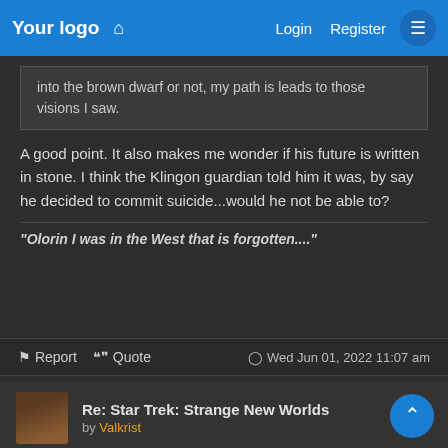Your logo  ⌂  Login  Register  ☰
into the brown dwarf or not, my path is leads to those visions I saw.
A good point. It also makes me wonder if his future is written in stone. I think the Klingon guardian told him it was, by say he decided to commit suicide...would he not be able to?
"Olorin I was in the West that is forgotten...."
Report  Quote  Wed Jun 01, 2022 11:07 am
Re: Star Trek: Strange New Worlds  # 48
by Valkrist
This is why I maintain that it was a stupid thing to do. I think the writers got caught up in the moment of having something neat to